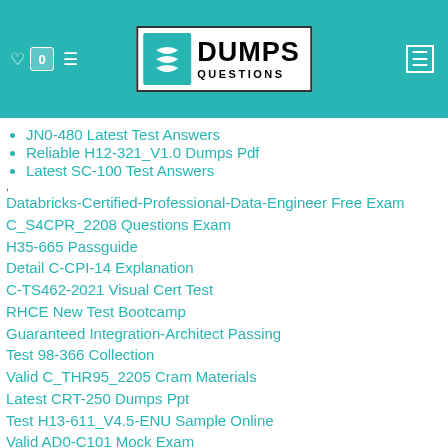[Figure (logo): DumpsQuestions logo with teal S icon and bold black DUMPS QUESTIONS text on white background, set in teal header bar with navigation icons]
JN0-480 Latest Test Answers
Reliable H12-321_V1.0 Dumps Pdf
Latest SC-100 Test Answers
Databricks-Certified-Professional-Data-Engineer Free Exam
C_S4CPR_2208 Questions Exam
H35-665 Passguide
Detail C-CPI-14 Explanation
C-TS462-2021 Visual Cert Test
RHCE New Test Bootcamp
Guaranteed Integration-Architect Passing
Test 98-366 Collection
Valid C_THR95_2205 Cram Materials
Latest CRT-250 Dumps Ppt
Test H13-611_V4.5-ENU Sample Online
Valid AD0-C101 Mock Exam